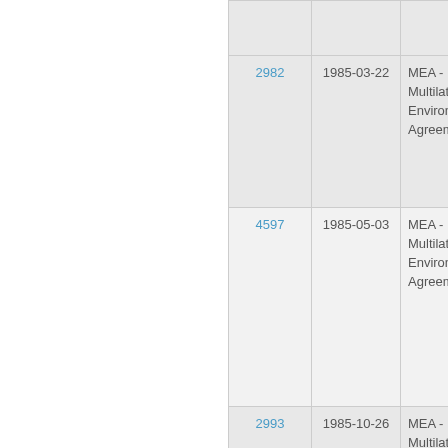| ID | Date | Category |
| --- | --- | --- |
|  |  |  |
| 2982 | 1985-03-22 | MEA - Multilateral Environmental Agreements |
| 4597 | 1985-05-03 | MEA - Multilateral Environmental Agreements |
| 2993 | 1985-10-26 | MEA - Multilateral Environmental Agreements |